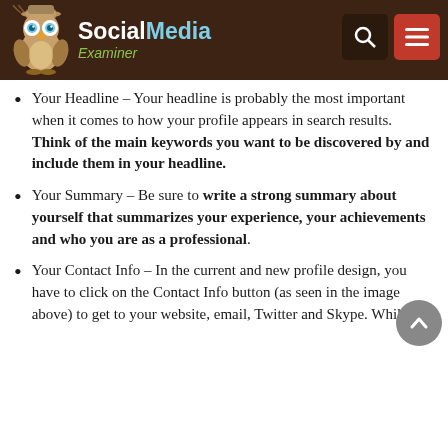Social Media Examiner
Your Headline – Your headline is probably the most important when it comes to how your profile appears in search results. Think of the main keywords you want to be discovered by and include them in your headline.
Your Summary – Be sure to write a strong summary about yourself that summarizes your experience, your achievements and who you are as a professional.
Your Contact Info – In the current and new profile design, you have to click on the Contact Info button (as seen in the image above) to get to your website, email, Twitter and Skype. While